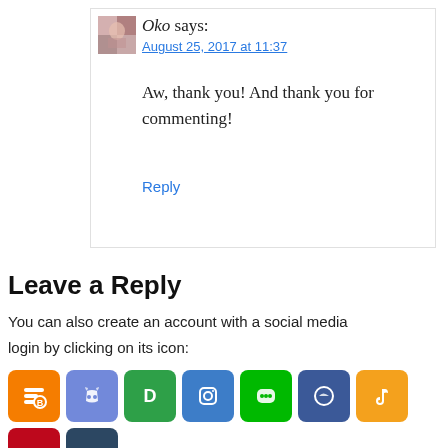[Figure (photo): Small avatar image of user Oko, showing a partial face photo]
Oko says:
August 25, 2017 at 11:37
Aw, thank you! And thank you for commenting!
Reply
Leave a Reply
You can also create an account with a social media login by clicking on its icon:
[Figure (illustration): Row of social media login icon buttons: Blogger, Discord, Disqus, Instagram, Line, Moderation(?), TikTok, Pinterest, Tumblr, Twitter, Weibo, WordPress]